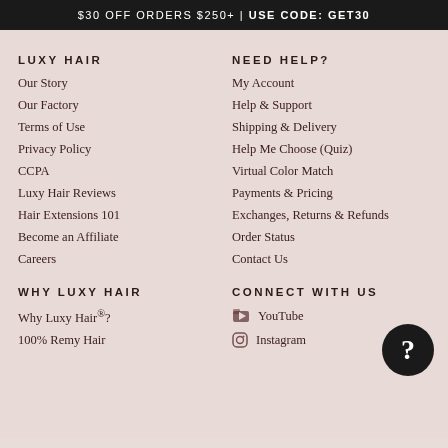$30 OFF ORDERS $250+ | USE CODE: GET30
LUXY HAIR
Our Story
Our Factory
Terms of Use
Privacy Policy
CCPA
Luxy Hair Reviews
Hair Extensions 101
Become an Affiliate
Careers
NEED HELP?
My Account
Help & Support
Shipping & Delivery
Help Me Choose (Quiz)
Virtual Color Match
Payments & Pricing
Exchanges, Returns & Refunds
Order Status
Contact Us
WHY LUXY HAIR
Why Luxy Hair®?
100% Remy Hair
CONNECT WITH US
YouTube
Instagram